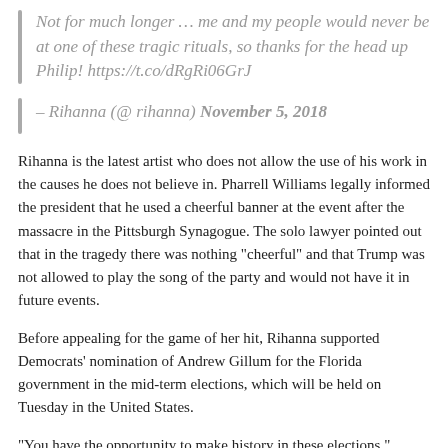Not for much longer … me and my people would never be at one of these tragic rituals, so thanks for the head up Philip! https://t.co/dRgRi06GrJ
– Rihanna (@ rihanna) November 5, 2018
Rihanna is the latest artist who does not allow the use of his work in the causes he does not believe in. Pharrell Williams legally informed the president that he used a cheerful banner at the event after the massacre in the Pittsburgh Synagogue. The solo lawyer pointed out that in the tragedy there was nothing "cheerful" and that Trump was not allowed to play the song of the party and would not have it in future events.
Before appealing for the game of her hit, Rihanna supported Democrats' nomination of Andrew Gillum for the Florida government in the mid-term elections, which will be held on Tuesday in the United States.
"You have the opportunity to make history in these elections."